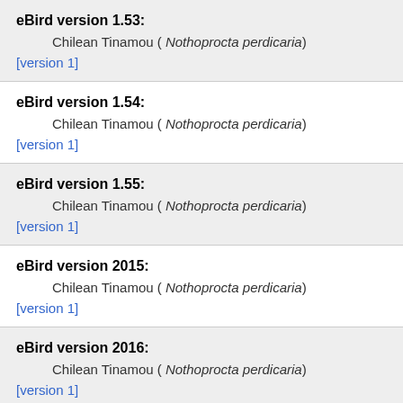eBird version 1.53:
Chilean Tinamou ( Nothoprocta perdicaria)
[version 1]
eBird version 1.54:
Chilean Tinamou ( Nothoprocta perdicaria)
[version 1]
eBird version 1.55:
Chilean Tinamou ( Nothoprocta perdicaria)
[version 1]
eBird version 2015:
Chilean Tinamou ( Nothoprocta perdicaria)
[version 1]
eBird version 2016:
Chilean Tinamou ( Nothoprocta perdicaria)
[version 1]